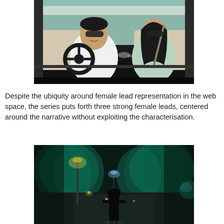[Figure (photo): Two people sitting inside a car. A man with sunglasses is in the driver's seat wearing a white shirt, and a woman with sunglasses wearing a light green shirt is in the passenger seat. The car interior has beige/cream colored seats.]
Despite the ubiquity around female lead representation in the web space, the series puts forth three strong female leads, centered around the narrative without exploiting the characterisation.
[Figure (photo): A dark night street scene showing a silhouette of a person standing in the middle of a road with trees lit in teal/cyan light in the background, and lights from lamp posts visible.]